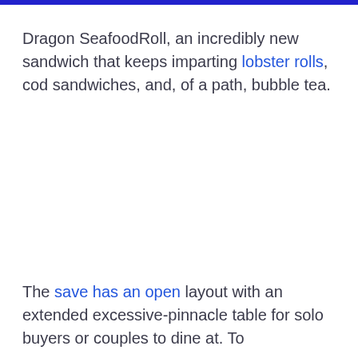Dragon SeafoodRoll, an incredibly new sandwich that keeps imparting lobster rolls, cod sandwiches, and, of a path, bubble tea.
The save has an open layout with an extended excessive-pinnacle table for solo buyers or couples to dine at. To